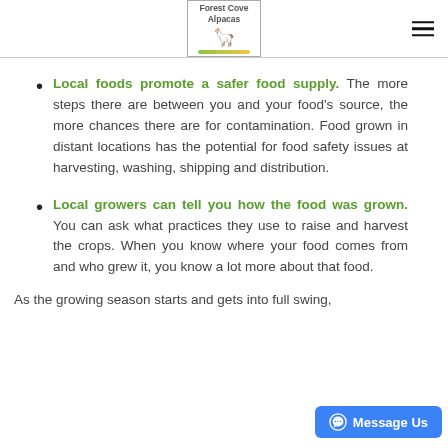Forest Cove Alpacas
Local foods promote a safer food supply. The more steps there are between you and your food's source, the more chances there are for contamination. Food grown in distant locations has the potential for food safety issues at harvesting, washing, shipping and distribution.
Local growers can tell you how the food was grown. You can ask what practices they use to raise and harvest the crops. When you know where your food comes from and who grew it, you know a lot more about that food.
As the growing season starts and gets into full swing,